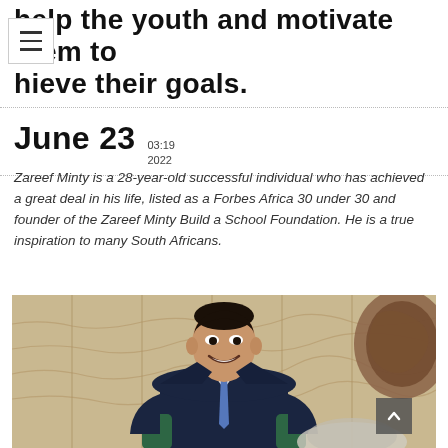help the youth and motivate them to hieve their goals.
June 23  03:19  2022
Zareef Minty is a 28-year-old successful individual who has achieved a great deal in his life, listed as a Forbes Africa 30 under 30 and founder of the Zareef Minty Build a School Foundation. He is a true inspiration to many South Africans.
[Figure (photo): Young man in a dark navy suit with a blue tie, sitting and smiling, with a wooden paneled background and a partial view of a circular artwork on the right.]